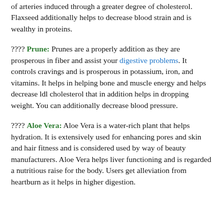of arteries induced through a greater degree of cholesterol. Flaxseed additionally helps to decrease blood strain and is wealthy in proteins.
???? Prune: Prunes are a properly addition as they are prosperous in fiber and assist your digestive problems. It controls cravings and is prosperous in potassium, iron, and vitamins. It helps in helping bone and muscle energy and helps decrease ldl cholesterol that in addition helps in dropping weight. You can additionally decrease blood pressure.
???? Aloe Vera: Aloe Vera is a water-rich plant that helps hydration. It is extensively used for enhancing pores and skin and hair fitness and is considered used by way of beauty manufacturers. Aloe Vera helps liver functioning and is regarded a nutritious raise for the body. Users get alleviation from heartburn as it helps in higher digestion.